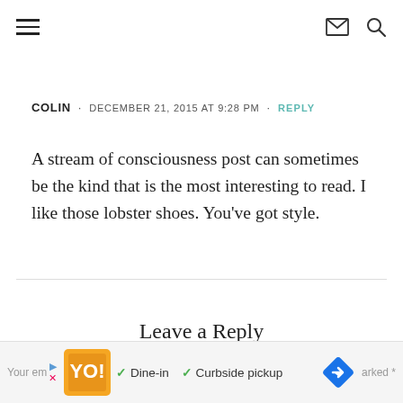≡  ✉ 🔍
COLIN · DECEMBER 21, 2015 AT 9:28 PM · REPLY
A stream of consciousness post can sometimes be the kind that is the most interesting to read. I like those lobster shoes. You've got style.
Leave a Reply
Your em  Dine-in  Curbside pickup  arked *